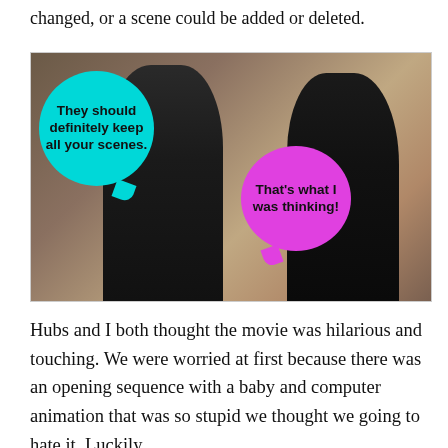changed, or a scene could be added or deleted.
[Figure (photo): A photo of two people (a man in a dark suit and a woman in a dark jacket) facing each other in what appears to be an indoor setting. A cyan speech bubble on the left says 'They should definitely keep all your scenes.' and a magenta speech bubble on the right says 'That's what I was thinking!']
Hubs and I both thought the movie was hilarious and touching. We were worried at first because there was an opening sequence with a baby and computer animation that was so stupid we thought we going to hate it. Luckily